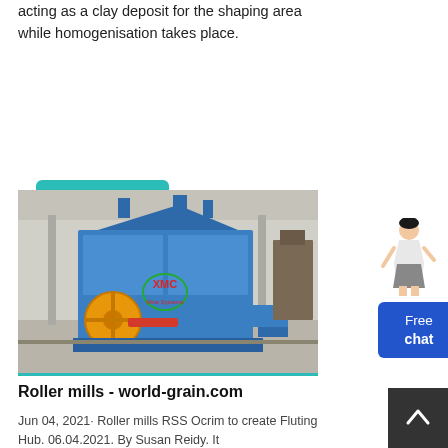acting as a clay deposit for the shaping area while homogenisation takes place.
ЧИТАТЬ ДАЛЕЕ
[Figure (photo): Blue industrial roller mill / impact crusher machine with orange flywheel, photographed in a factory/warehouse setting. XMC brand logo visible on the machine.]
Roller mills - world-grain.com
Jun 04, 2021· Roller mills RSS Ocrim to create Fluting Hub. 06.04.2021. By Susan Reidy. It